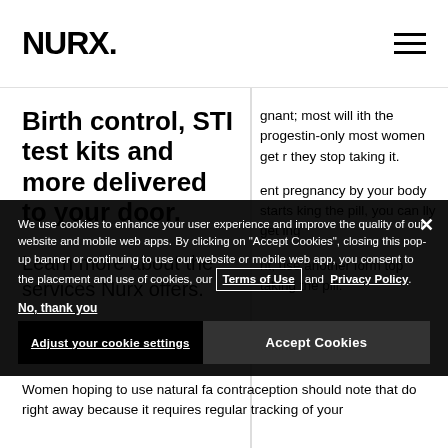NURX.
Birth control, STI test kits and more delivered to your door.
Learn more about the services Nurx offers.
gnant; most will ith the progestin-only most women get r they stop taking it.
ent pregnancy by your body starts king the pill, you can lly get ing
nt, use another form top taking the pill.
Women hoping to use natural fa contraception should note that do right away because it requires regular tracking of your
We use cookies to enhance your user experience and improve the quality of our website and mobile web apps. By clicking on "Accept Cookies", closing this pop-up banner or continuing to use our website or mobile web app, you consent to the placement and use of cookies, our Terms of Use and Privacy Policy.
No, thank you
Adjust your cookie settings
Accept Cookies